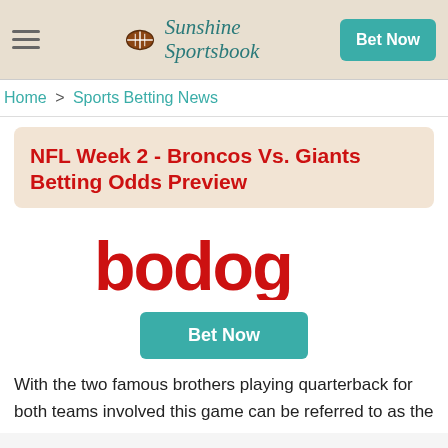Sunshine Sportsbook — Bet Now
Home > Sports Betting News
NFL Week 2 - Broncos Vs. Giants Betting Odds Preview
[Figure (logo): Bodog logo in red text]
Bet Now
With the two famous brothers playing quarterback for both teams involved this game can be referred to as the